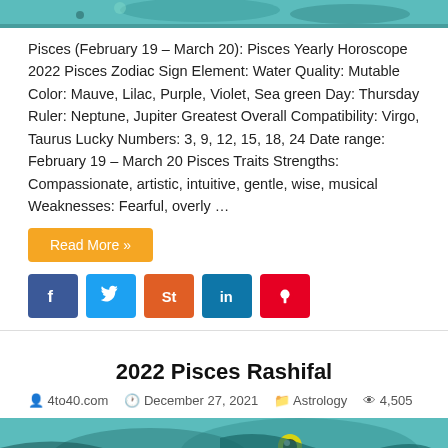[Figure (illustration): Top portion of a Pisces astrology illustration with teal/cyan color tones]
Pisces (February 19 – March 20): Pisces Yearly Horoscope 2022 Pisces Zodiac Sign Element: Water Quality: Mutable Color: Mauve, Lilac, Purple, Violet, Sea green Day: Thursday Ruler: Neptune, Jupiter Greatest Overall Compatibility: Virgo, Taurus Lucky Numbers: 3, 9, 12, 15, 18, 24 Date range: February 19 – March 20 Pisces Traits Strengths: Compassionate, artistic, intuitive, gentle, wise, musical Weaknesses: Fearful, overly …
Read More »
[Figure (infographic): Social media sharing buttons: Facebook (blue), Twitter (light blue), StumbleUpon (orange-red), LinkedIn (blue), Pinterest (red)]
2022 Pisces Rashifal
4to40.com   December 27, 2021   Astrology   4,505
[Figure (illustration): Pisces astrology illustration showing a fish with teal/cyan colors and artistic design]